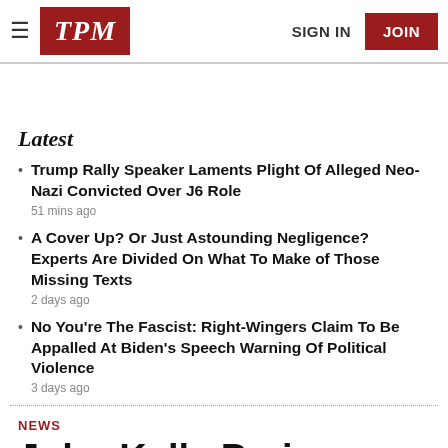TPM | SIGN IN | JOIN
Latest
Trump Rally Speaker Laments Plight Of Alleged Neo-Nazi Convicted Over J6 Role
51 mins ago
A Cover Up? Or Just Astounding Negligence? Experts Are Divided On What To Make of Those Missing Texts
2 days ago
No You're The Fascist: Right-Wingers Claim To Be Appalled At Biden's Speech Warning Of Political Violence
3 days ago
NEWS
John Kelly Praises Alexander